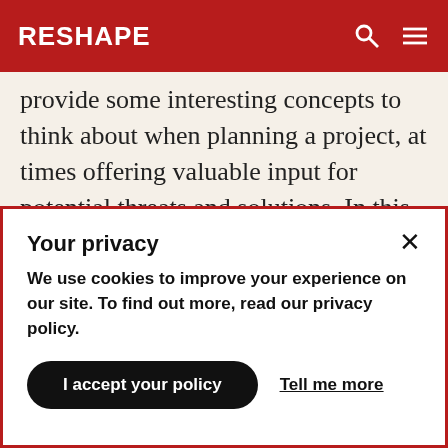RESHAPE
provide some interesting concepts to think about when planning a project, at times offering valuable input for potential threats and solutions. In this particular case, it was abundantly clear that if we wanted to make it relevant for our Tripoli-based project, we would have to try hard. Most of the threats were not directly applicable to the Libyan context. We decided to change them as little as necessary in order to make them
Your privacy
We use cookies to improve your experience on our site. To find out more, read our privacy policy.
I accept your policy
Tell me more